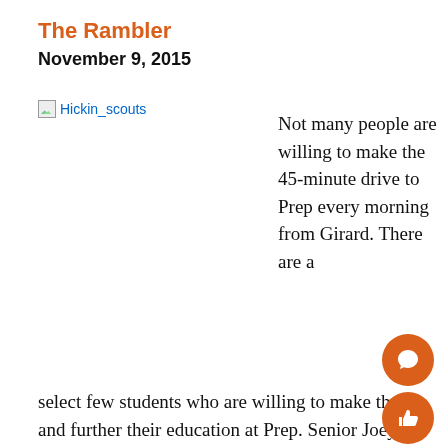The Rambler
November 9, 2015
[Figure (photo): Broken image placeholder labeled 'Hickin_scouts']
Not many people are willing to make the 45-minute drive to Prep every morning from Girard. There are a select few students who are willing to make the tr and further their education at Prep. Senior Joey Hickin is one of these students willing to sacrifice valuable sleep time to be able to attend Cathedral Preparatory School. There is more to Joey than just